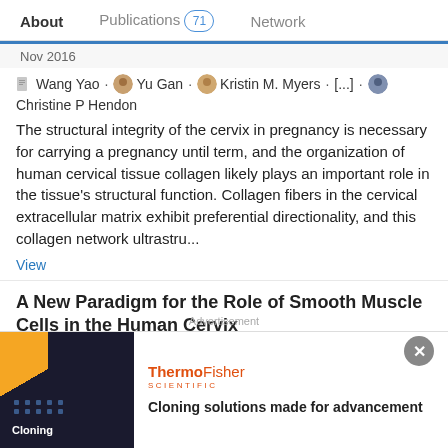About | Publications 71 | Network
Nov 2016
Wang Yao · Yu Gan · Kristin M. Myers · [...] · Christine P Hendon
The structural integrity of the cervix in pregnancy is necessary for carrying a pregnancy until term, and the organization of human cervical tissue collagen likely plays an important role in the tissue's structural function. Collagen fibers in the cervical extracellular matrix exhibit preferential directionality, and this collagen network ultrastru...
View
A New Paradigm for the Role of Smooth Muscle Cells in the Human Cervix
[Figure (screenshot): Advertisement banner: ThermoFisher Scientific - Cloning solutions made for advancement]